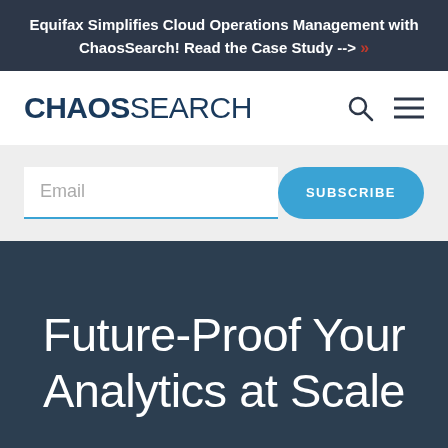Equifax Simplifies Cloud Operations Management with ChaosSearch! Read the Case Study --> »
[Figure (logo): ChaosSearch logo with search and menu icons]
Email
SUBSCRIBE
Future-Proof Your Analytics at Scale